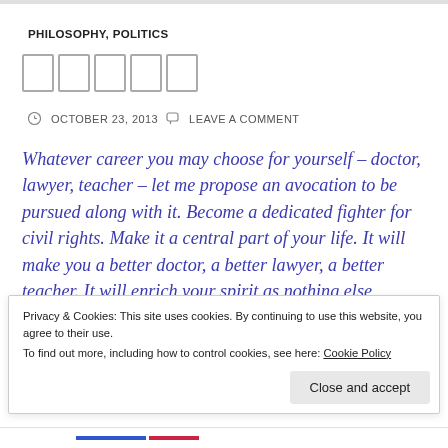PHILOSOPHY, POLITICS
□□□□□
OCTOBER 23, 2013   LEAVE A COMMENT
Whatever career you may choose for yourself – doctor, lawyer, teacher – let me propose an avocation to be pursued along with it. Become a dedicated fighter for civil rights. Make it a central part of your life. It will make you a better doctor, a better lawyer, a better teacher. It will enrich your spirit as nothing else possibly can. It will give
Privacy & Cookies: This site uses cookies. By continuing to use this website, you agree to their use.
To find out more, including how to control cookies, see here: Cookie Policy
Close and accept